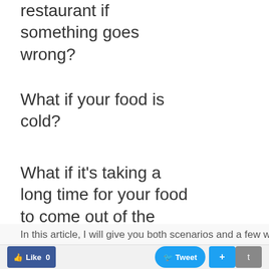restaurant if something goes wrong?
What if your food is cold?
What if it's taking a long time for your food to come out of the kitchen?
What if the waitress brings you a dish that you did not order?
You have to complain!
But in order to do that, you need the right words and phrases.
In this article, I will give you both scenarios and a few ways to handle each situation.